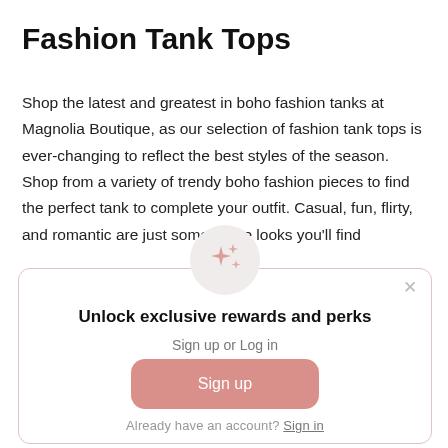Fashion Tank Tops
Shop the latest and greatest in boho fashion tanks at Magnolia Boutique, as our selection of fashion tank tops is ever-changing to reflect the best styles of the season. Shop from a variety of trendy boho fashion pieces to find the perfect tank to complete your outfit. Casual, fun, flirty, and romantic are just some of the looks you'll find
[Figure (screenshot): Modal popup with sparkle icon, 'Unlock exclusive rewards and perks' heading, 'Sign up or Log in' subtitle, a pink 'Sign up' button, and 'Already have an account? Sign in' footer link. Close (x) button in top right corner.]